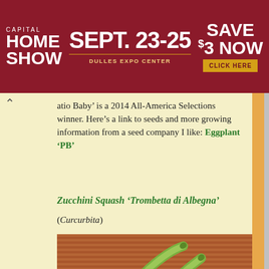[Figure (infographic): Capital Home Show advertisement banner. Red background. Left: 'CAPITAL HOME SHOW' in white bold text. Center: 'SEPT. 23-25' in large white text, 'DULLES EXPO CENTER' below. Right: 'SAVE $3 NOW' in white bold, yellow 'CLICK HERE' button.]
‘atio Baby’ is a 2014 All-America Selections winner. Here’s a link to seeds and more growing information from a seed company I like: Eggplant ‘PB’
Zucchini Squash ‘Trombetta di Albegna’
(Curcurbita)
[Figure (photo): Photo of several long, light green Trombetta di Albegna zucchini squash arranged in a dark woven basket on a brown woven mat background.]